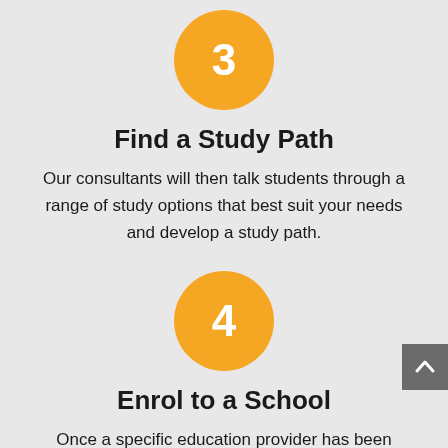[Figure (other): Orange circle with white number 3]
Find a Study Path
Our consultants will then talk students through a range of study options that best suit your needs and develop a study path.
[Figure (other): Orange circle with white number 4]
Enrol to a School
Once a specific education provider has been chosen, your consultant will then help students complete their school application and assist throughout the entire